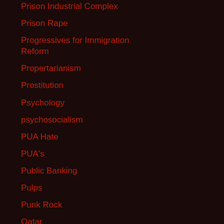Prison Industrial Complex
Prison Rape
Progressives for Immigration Reform
Propertarianism
Prostitution
Psychology
psychosocialism
PUA Hate
PUA's
Public Banking
Pulps
Punk Rock
Qatar
Quarter-life crisis